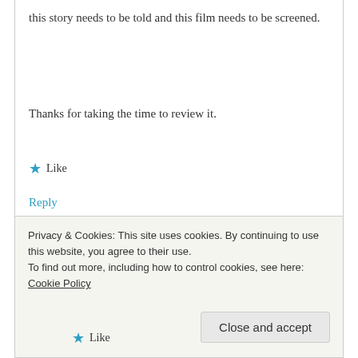this story needs to be told and this film needs to be screened.
Thanks for taking the time to review it.
★ Like
Reply
zarahruth
JUNE 9, 2013 AT 12:23 AM
Privacy & Cookies: This site uses cookies. By continuing to use this website, you agree to their use.
To find out more, including how to control cookies, see here: Cookie Policy
Close and accept
★ Like